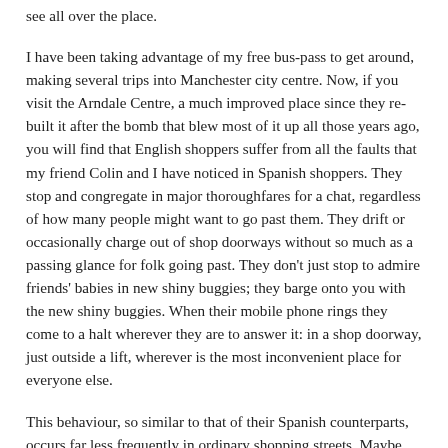see all over the place.
I have been taking advantage of my free bus-pass to get around, making several trips into Manchester city centre. Now, if you visit the Arndale Centre, a much improved place since they re-built it after the bomb that blew most of it up all those years ago, you will find that English shoppers suffer from all the faults that my friend Colin and I have noticed in Spanish shoppers. They stop and congregate in major thoroughfares for a chat, regardless of how many people might want to go past them. They drift or occasionally charge out of shop doorways without so much as a passing glance for folk going past. They don't just stop to admire friends' babies in new shiny buggies; they barge onto you with the new shiny buggies. When their mobile phone rings they come to a halt wherever they are to answer it: in a shop doorway, just outside a lift, wherever is the most inconvenient place for everyone else.
This behaviour, so similar to that of their Spanish counterparts, occurs far less frequently in ordinary shopping streets. Maybe it's a question of climate. Inside an indoor shopping centre they don't have to be concerned about the weather and so they can come to a halt whenever they want without fear of freezing to the spot on an